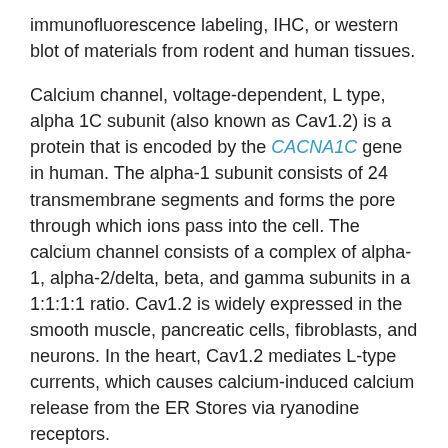immunofluorescence labeling, IHC, or western blot of materials from rodent and human tissues.
Calcium channel, voltage-dependent, L type, alpha 1C subunit (also known as Cav1.2) is a protein that is encoded by the CACNA1C gene in human. The alpha-1 subunit consists of 24 transmembrane segments and forms the pore through which ions pass into the cell. The calcium channel consists of a complex of alpha-1, alpha-2/delta, beta, and gamma subunits in a 1:1:1:1 ratio. Cav1.2 is widely expressed in the smooth muscle, pancreatic cells, fibroblasts, and neurons. In the heart, Cav1.2 mediates L-type currents, which causes calcium-induced calcium release from the ER Stores via ryanodine receptors.